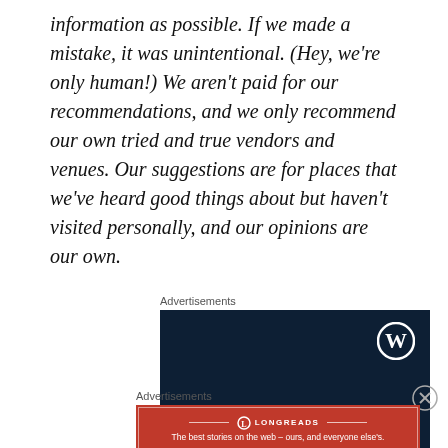information as possible. If we made a mistake, it was unintentional. (Hey, we're only human!) We aren't paid for our recommendations, and we only recommend our own tried and true vendors and venues. Our suggestions are for places that we've heard good things about but haven't visited personally, and our opinions are our own.
Advertisements
[Figure (other): WordPress.com advertisement banner with dark navy background, WordPress 'W' circle logo in top right, text reading 'Opinions.' and 'We all have them!' in white serif font.]
Advertisements
[Figure (other): Longreads advertisement banner with red background, Longreads logo and text 'The best stories on the web – ours, and everyone else's.']